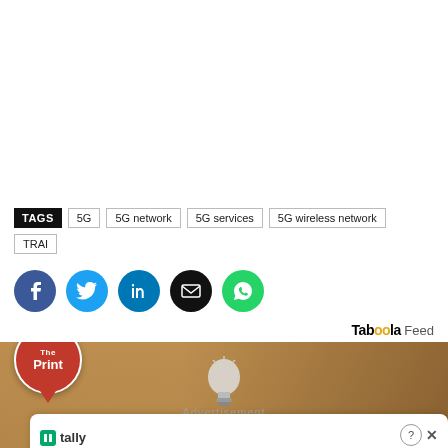TAGS  5G  5G network  5G services  5G wireless network  TRAI
[Figure (infographic): Social sharing buttons: Facebook (blue circle), Twitter (light blue circle), LinkedIn (dark blue circle), Email (black circle), WhatsApp (green circle)]
Taboola Feed
[Figure (photo): Background image of a light bulb being held, warm brown tones, with 'Advertisement' text overlay and a Tally ad banner at the bottom reading 'Fast credit card payoff' with a Download Now button]